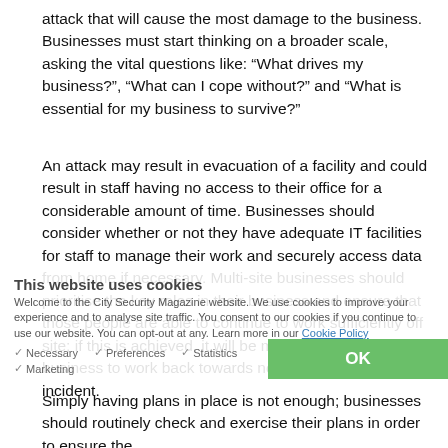attack that will cause the most damage to the business. Businesses must start thinking on a broader scale, asking the vital questions like: “What drives my business?”, “What can I cope without?” and “What is essential for my business to survive?”
An attack may result in evacuation of a facility and could result in staff having no access to their office for a considerable amount of time. Businesses should consider whether or not they have adequate IT facilities for staff to manage their work and securely access data from home if necessary. Multi-site businesses should prioritise the key roles in their business and ensure that those people are able to continue to work sufficiently off site; if this is achieved, it will be much easier for a business to work back towards normality following an incident.
Simply having plans in place is not enough; businesses should routinely check and exercise their plans in order to ensure the